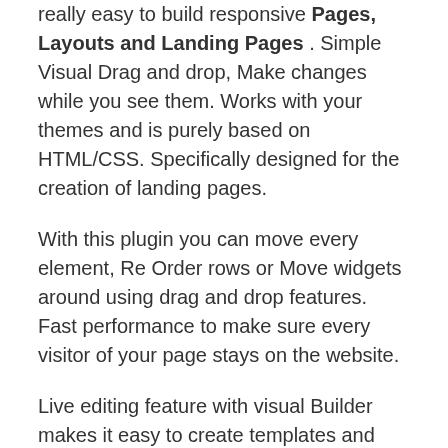really easy to build responsive Pages, Layouts and Landing Pages . Simple Visual Drag and drop, Make changes while you see them. Works with your themes and is purely based on HTML/CSS. Specifically designed for the creation of landing pages.
With this plugin you can move every element, Re Order rows or Move widgets around using drag and drop features. Fast performance to make sure every visitor of your page stays on the website.
Live editing feature with visual Builder makes it easy to create templates and edit existing ones easily and fast. You can design any page of any kind.
Features and tons of amazing functionalities makes it the most robust WordPress Page Builder.
This plugin allows you to build standalone pages